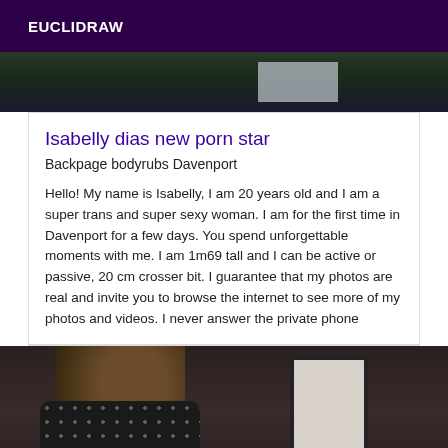EUCLIDRAW
[Figure (photo): Partial photo at top of page, dark background with a light-colored box visible on the right side]
Isabelly dias new porn star
Backpage bodyrubs Davenport
Hello! My name is Isabelly, I am 20 years old and I am a super trans and super sexy woman. I am for the first time in Davenport for a few days. You spend unforgettable moments with me. I am 1m69 tall and I can be active or passive, 20 cm crosser bit. I guarantee that my photos are real and invite you to browse the internet to see more of my photos and videos. I never answer the private phone
[Figure (photo): Photo of a person with dark hair, wearing a black dotted/perforated top, with a framed picture visible in the background]